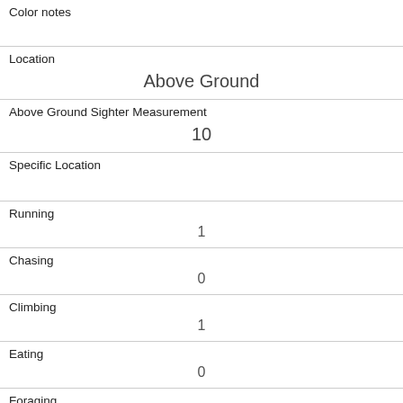Color notes
Location
Above Ground
Above Ground Sighter Measurement
10
Specific Location
Running
1
Chasing
0
Climbing
1
Eating
0
Foraging
0
Other Activities
Kuks